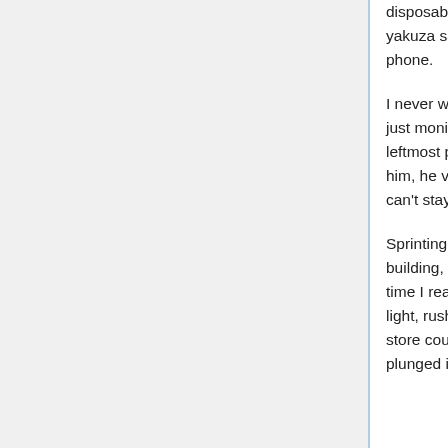disposable battery used for phones. Now I get it, I recall that the yakuza said that he was asking around about something on the phone.
I never would've thought that we could really find this person by just monitoring a shop. Kusakabe's silhouette was shown on the leftmost part of the monitor. Although I immediately focused on him, he vanished from the screen very quickly. I stood up— I can't stay here anymore, for fear of losing his trail.
Sprinting out of the door and running down the stairs of the building, I couldn't see Kusakabe Masaya's silhouette by the time I reached the junction. I ignored the red light of the traffic light, rushing in a slanted path to the slope. As the lights of the store could not shine on here, the streets were suddenly plunged into